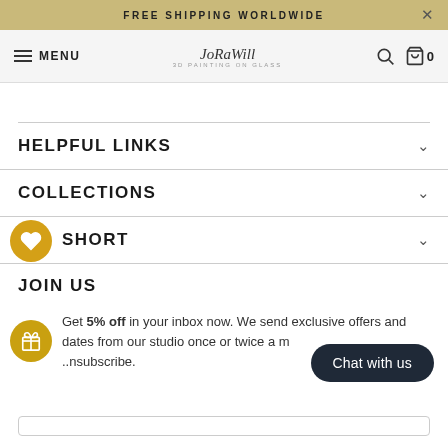FREE SHIPPING WORLDWIDE
MENU | Logo: 3D Painting on Glass | Search | Bag 0
HELPFUL LINKS
COLLECTIONS
SHORT
JOIN US
Get 5% off in your inbox now. We send exclusive offers and dates from our studio once or twice a month, and you can always unsubscribe.